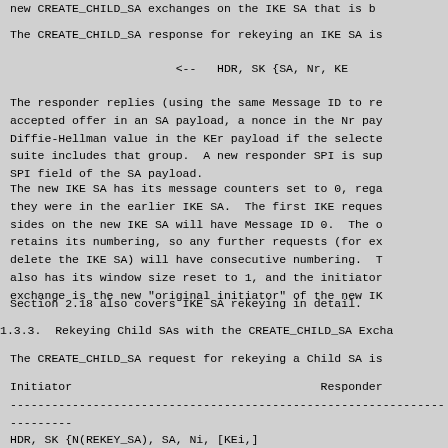new CREATE_CHILD_SA exchanges on the IKE SA that is b
The CREATE_CHILD_SA response for rekeying an IKE SA is
<--  HDR, SK {SA, Nr, KEr
The responder replies (using the same Message ID to re
accepted offer in an SA payload, a nonce in the Nr pay
Diffie-Hellman value in the KEr payload if the selecte
suite includes that group.  A new responder SPI is sup
SPI field of the SA payload.
The new IKE SA has its message counters set to 0, rega
they were in the earlier IKE SA.  The first IKE reques
sides on the new IKE SA will have Message ID 0.  The o
retains its numbering, so any further requests (for ex
delete the IKE SA) will have consecutive numbering.  T
also has its window size reset to 1, and the initiator
exchange is the new "original initiator" of the new IK
Section 2.18 also covers IKE SA rekeying in detail.
1.3.3.  Rekeying Child SAs with the CREATE_CHILD_SA Excha
The CREATE_CHILD_SA request for rekeying a Child SA is
Initiator                                    Responder
------------------------------------------------------------------------
HDR, SK {N(REKEY_SA), SA, Ni, [KEi,]
     TSi, TSr}   -->